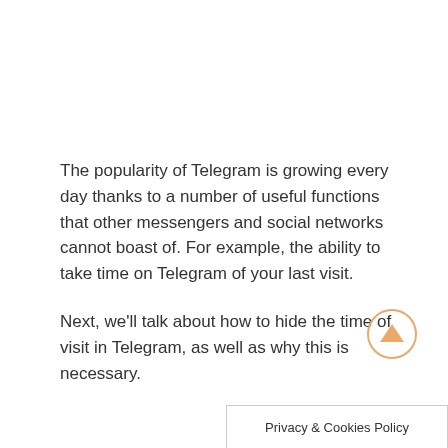The popularity of Telegram is growing every day thanks to a number of useful functions that other messengers and social networks cannot boast of. For example, the ability to take time on Telegram of your last visit.

Next, we'll talk about how to hide the time of visit in Telegram, as well as why this is necessary.
[Figure (other): Orange circular scroll-to-top button with upward-pointing triangle arrow]
Privacy & Cookies Policy